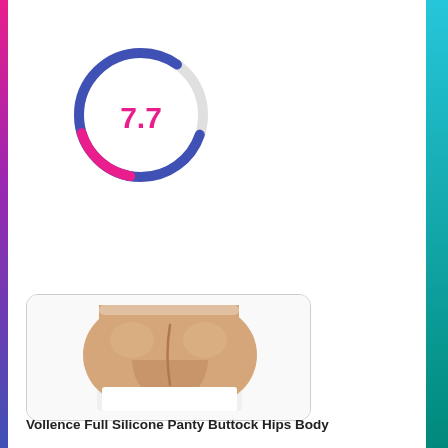[Figure (other): Circular gauge/score dial showing 7.7 in pink/red text, with a blue arc and pink arc on the ring]
[Figure (photo): Product photo of a silicone panty buttock hips body shaper, beige/skin-colored, shown from behind on white background, inside a rounded rectangle border]
Vollence Full Silicone Panty Buttock Hips Body